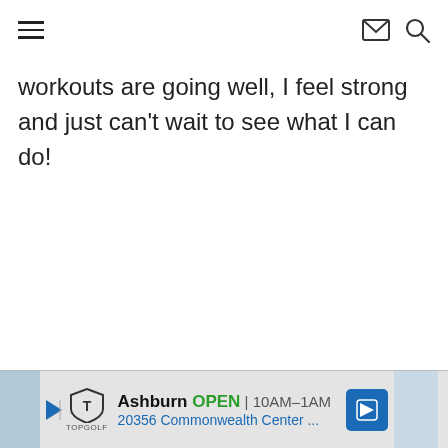[hamburger menu] [envelope icon] [search icon]
workouts are going well, I feel strong and just can't wait to see what I can do!
[Figure (other): Advertisement banner for Topgolf Ashburn: OPEN 10AM–1AM, 20356 Commonwealth Center ..., with navigation arrow icon]